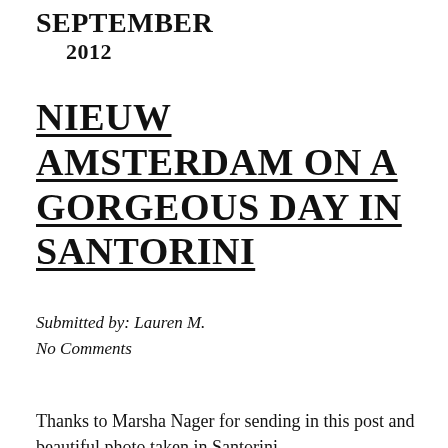SEPTEMBER
2012
NIEUW AMSTERDAM ON A GORGEOUS DAY IN SANTORINI
Submitted by: Lauren M.
No Comments
Thanks to Marsha Nager for sending in this post and beautiful photo taken in Santorini,